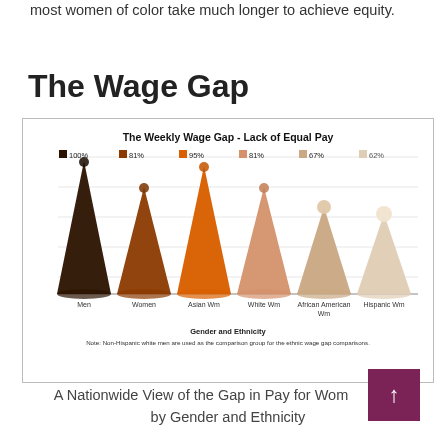most women of color take much longer to achieve equity.
The Wage Gap
[Figure (bar-chart): The Weekly Wage Gap - Lack of Equal Pay]
A Nationwide View of the Gap in Pay for Women by Gender and Ethnicity